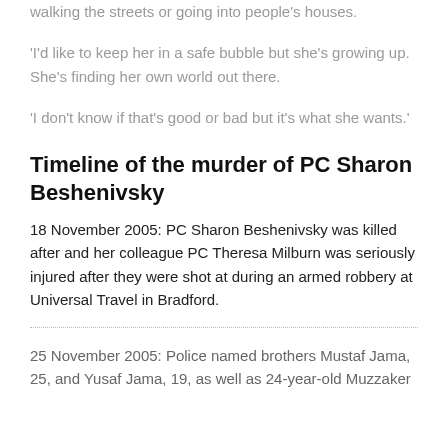walking the streets or going into people's houses.
'I'd like to keep her in a safe bubble but she's growing up. She's finding her own world out there.
'I don't know if that's good or bad but it's what she wants.'
Timeline of the murder of PC Sharon Beshenivsky
18 November 2005: PC Sharon Beshenivsky was killed after and her colleague PC Theresa Milburn was seriously injured after they were shot at during an armed robbery at Universal Travel in Bradford.
25 November 2005: Police named brothers Mustaf Jama, 25, and Yusaf Jama, 19, as well as 24-year-old Muzzaker